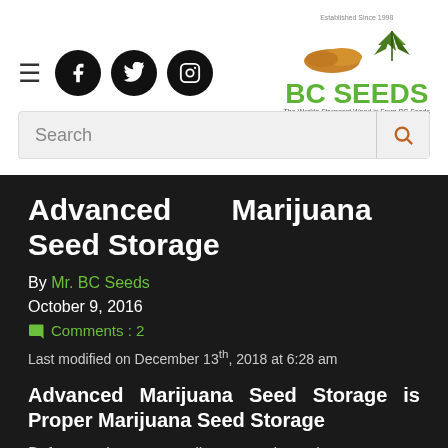BC Seeds website header with navigation icons and logo
Advanced Marijuana Seed Storage
By Mr. BC Seeds
October 9, 2016
Comments : 2
Last modified on December 13th, 2018 at 6:28 am
Advanced Marijuana Seed Storage is Proper Marijuana Seed Storage
Before storing your marijuana seeds, make sure your